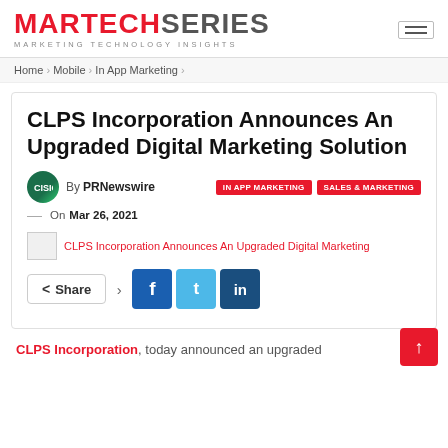MARTECH SERIES MARKETING TECHNOLOGY INSIGHTS
Home > Mobile > In App Marketing >
CLPS Incorporation Announces An Upgraded Digital Marketing Solution
By PRNewswire — On Mar 26, 2021
IN APP MARKETING   SALES & MARKETING
CLPS Incorporation Announces An Upgraded Digital Marketing
Share
CLPS Incorporation, today announced an upgraded